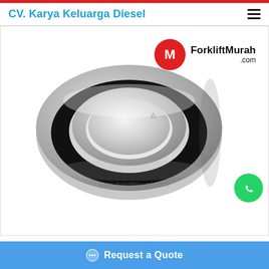CV. Karya Keluarga Diesel
[Figure (photo): Product photo of a forklift bearing/clutch release bearing ring, silver metallic with black rubber seal, on white background. Logo 'ForkliftMurah.com' with red circular M icon in top-right. Watermark 'www.forkliftmurah.com' across center.]
Request a Quote